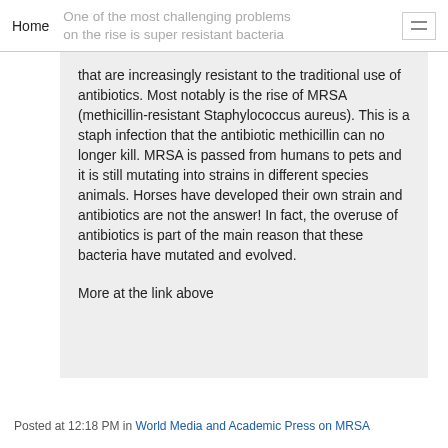Home | One of the most challenging problems on the rise is super resistant bacteria
that are increasingly resistant to the traditional use of antibiotics. Most notably is the rise of MRSA (methicillin-resistant Staphylococcus aureus). This is a staph infection that the antibiotic methicillin can no longer kill. MRSA is passed from humans to pets and it is still mutating into strains in different species animals. Horses have developed their own strain and antibiotics are not the answer! In fact, the overuse of antibiotics is part of the main reason that these bacteria have mutated and evolved.
More at the link above
Posted at 12:18 PM in World Media and Academic Press on MRSA